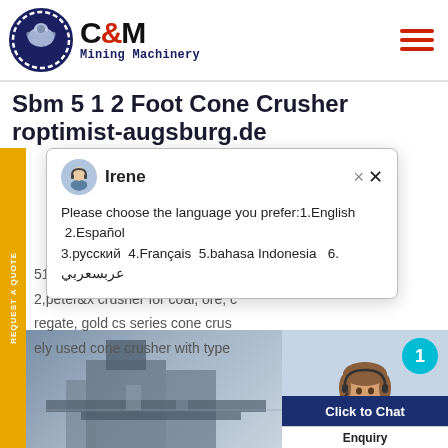[Figure (logo): C&M Mining Machinery logo with eagle/gear emblem, dark navy circle with gear border, text C&M in bold black and Mining Machinery in monospace navy font]
Sbm 5 1 2 Foot Cone Crusher roptimist-augsburg.de
[Figure (screenshot): Chat popup with avatar of Irene (customer service agent with headset), close button, and text: Please choose the language you prefer:1.English 2.Español 3.русский 4.Français 5.bahasa Indonesia 6. عربسعربي]
512 foot peter&x crusher- pete 2,peter&x crusher for coal, ore, regate, gold cs series cone crus ely used cone crusher with type
[Figure (photo): Industrial mining/crushing machinery partially visible at bottom left, female customer service agent with headset smiling on right side, teal badge with number 1, Click to Chat dark navy button, Enquiry label below]
Click to Chat
Enquiry